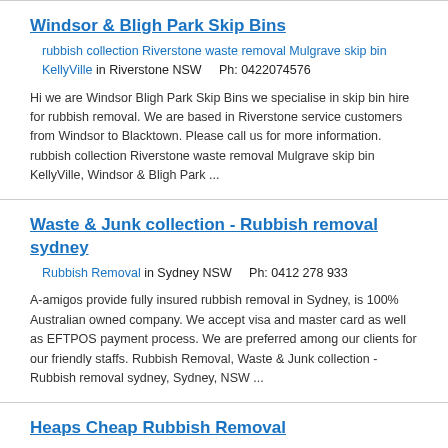Windsor & Bligh Park Skip Bins
rubbish collection Riverstone waste removal Mulgrave skip bin KellyVille in Riverstone NSW    Ph: 0422074576
Hi we are Windsor Bligh Park Skip Bins we specialise in skip bin hire for rubbish removal. We are based in Riverstone service customers from Windsor to Blacktown. Please call us for more information. rubbish collection Riverstone waste removal Mulgrave skip bin KellyVille, Windsor & Bligh Park ...
Waste & Junk collection - Rubbish removal sydney
Rubbish Removal in Sydney NSW    Ph: 0412 278 933
A-amigos provide fully insured rubbish removal in Sydney, is 100% Australian owned company. We accept visa and master card as well as EFTPOS payment process. We are preferred among our clients for our friendly staffs. Rubbish Removal, Waste & Junk collection - Rubbish removal sydney, Sydney, NSW ...
Heaps Cheap Rubbish Removal
Rubbish removal in Cronulla NSW    Ph: 1300 887 374
Same-day rubbish removal collection service to all suburbs throughout Sydney Rubbish removal, Heaps Cheap Rubbish Removal, Cronulla, NSW ...